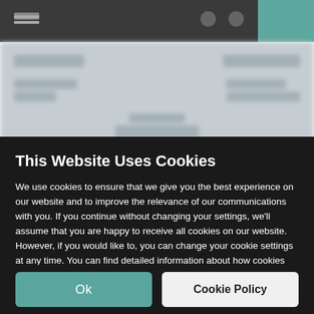[Figure (screenshot): Blurred website navigation/header in background, dark top bar with teal accent, blurred menu items visible]
This Website Uses Cookies
We use cookies to ensure that we give you the best experience on our website and to improve the relevance of our communications with you. If you continue without changing your settings, we'll assume that you are happy to receive all cookies on our website. However, if you would like to, you can change your cookie settings at any time. You can find detailed information about how cookies are used on this website by clicking Cookie Policy.
Ok
Cookie Policy